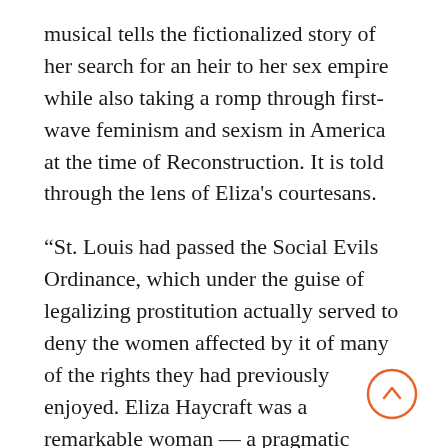musical tells the fictionalized story of her search for an heir to her sex empire while also taking a romp through first-wave feminism and sexism in America at the time of Reconstruction. It is told through the lens of Eliza's courtesans.
“St. Louis had passed the Social Evils Ordinance, which under the guise of legalizing prostitution actually served to deny the women affected by it of many of the rights they had previously enjoyed. Eliza Haycraft was a remarkable woman — a pragmatic feminist who mistrusted men, especially those who used their positions of